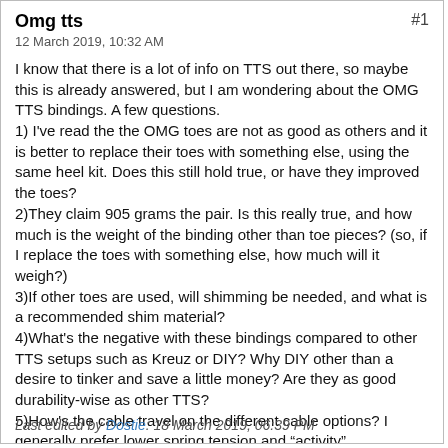Omg tts  #1
12 March 2019, 10:32 AM
I know that there is a lot of info on TTS out there, so maybe this is already answered, but I am wondering about the OMG TTS bindings. A few questions.
1) I've read the the OMG toes are not as good as others and it is better to replace their toes with something else, using the same heel kit. Does this still hold true, or have they improved the toes?
2)They claim 905 grams the pair. Is this really true, and how much is the weight of the binding other than toe pieces? (so, if I replace the toes with something else, how much will it weigh?)
3)If other toes are used, will shimming be needed, and what is a recommended shim material?
4)What's the negative with these bindings compared to other TTS setups such as Kreuz or DIY? Why DIY other than a desire to tinker and save a little money? Are they as good durability-wise as other TTS?
5)How's the cable travel on the different cable options? I generally prefer lower spring tension and "activity".

Thanks!
Last edited by Dostie: 18 March 2019, 06:39 PM